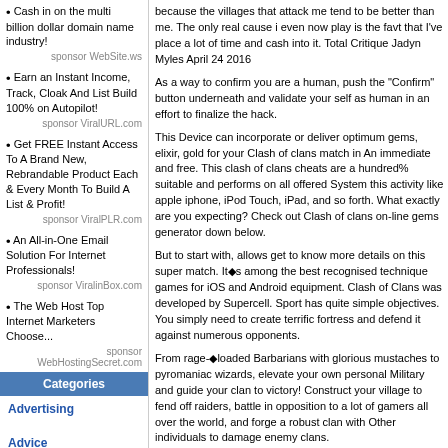Cash in on the multi billion dollar domain name industry!
sponsor WebSite.ws
Earn an Instant Income, Track, Cloak And List Build 100% on Autopilot!
sponsor ViralURL.com
Get FREE Instant Access To A Brand New, Rebrandable Product Each & Every Month To Build A List & Profit!
sponsor ViralPLR.com
An All-in-One Email Solution For Internet Professionals!
sponsor ViralinBox.com
The Web Host Top Internet Marketers Choose...
sponsor WebHostingSecret.com
Categories
Advertising
Advice
Affiliate Programs
because the villages that attack me tend to be better than me. The only real cause i even now play is the favt that I've place a lot of time and cash into it. Total Critique Jadyn Myles April 24 2016
As a way to confirm you are a human, push the "Confirm" button underneath and validate your self as human in an effort to finalize the hack.
This Device can incorporate or deliver optimum gems, elixir, gold for your Clash of clans match in An immediate and free. This clash of clans cheats are a hundred% suitable and performs on all offered System this activity like apple iphone, iPod Touch, iPad, and so forth. What exactly are you expecting? Check out Clash of clans on-line gems generator down below.
But to start with, allows get to know more details on this super match. It◆s among the best recognised technique games for iOS and Android equipment. Clash of Clans was developed by Supercell. Sport has quite simple objectives. You simply need to create terrific fortress and defend it against numerous opponents.
From rage-◆loaded Barbarians with glorious mustaches to pyromaniac wizards, elevate your own personal Military and guide your clan to victory! Construct your village to fend off raiders, battle in opposition to a lot of gamers all over the world, and forge a robust clan with Other individuals to damage enemy clans.
I hope you are pleased now. A single person has ship us an e mail that he need to make a hack for Clash of Clans, soon after I explore with my crew workerswe chose to make this need to be real, regardless of whether not Xmas, I joked. So, This can be for you Brandon .N . Using this type of hack you and our people can produce an infinite degree of Gems, Cash and Elixirs.